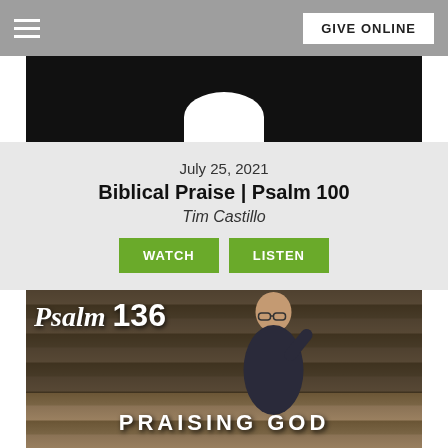GIVE ONLINE
[Figure (photo): Partial view of a circular profile photo on dark background, cropped at top]
July 25, 2021
Biblical Praise | Psalm 100
Tim Castillo
WATCH   LISTEN
[Figure (photo): A man in dark shirt speaking at a podium in front of wooden plank backdrop, with overlaid text reading 'Psalm 136 PRAISING GOD']